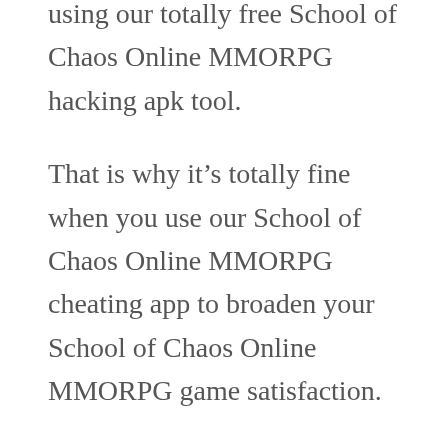effective way. Acquire them instead by using our totally free School of Chaos Online MMORPG hacking apk tool.
That is why it’s totally fine when you use our School of Chaos Online MMORPG cheating app to broaden your School of Chaos Online MMORPG game satisfaction.
Hacking mobile games can be enjoyable, and there is nothing wrong with it, so go on, use our free online hack today.